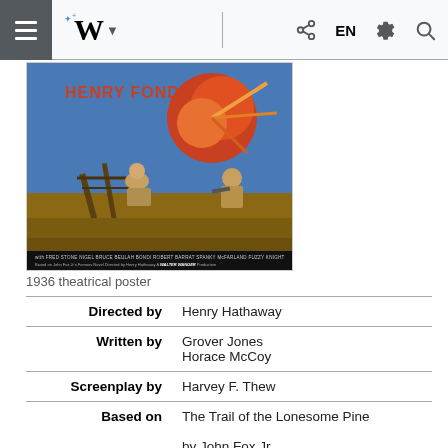Wikipedia mobile navigation bar with hamburger menu, Wikipedia logo, EN language selector, share, settings, and search icons
[Figure (photo): 1936 theatrical poster for The Trail of the Lonesome Pine featuring Henry Fonda, with action scene showing a man shooting and explosion effects in colorful illustrated style. Cast credits visible at bottom including Fred Stone, Nigel Bruce, Beulah Bondi, Robert Barrat, Spanky McFarland, Fuzzy Knight. A Walter Wanger Production.]
1936 theatrical poster
| Role | Value |
| --- | --- |
| Directed by | Henry Hathaway |
| Written by | Grover Jones
Horace McCoy |
| Screenplay by | Harvey F. Thew |
| Based on | The Trail of the Lonesome Pine
by John Fox Jr. |
| Produced by | Walter Wanger |
| Starring | Fred MacMurray
Sylvia Sidney |